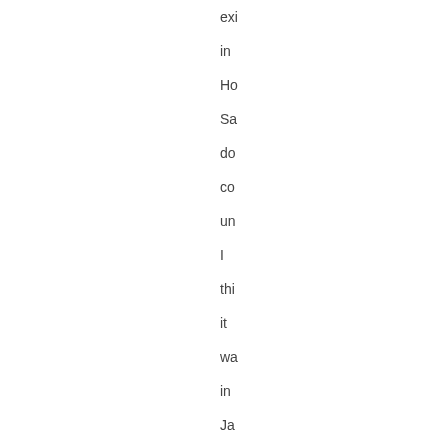exi
in
Ho
Sa
do
co
un
I
thi
it
wa
in
Ja
An
in
Ru
Sa